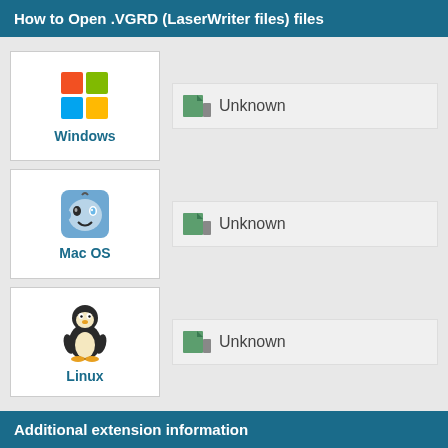How to Open .VGRD (LaserWriter files) files
[Figure (infographic): Windows OS icon with Windows flag logo and label]
Unknown
[Figure (infographic): Mac OS icon with Finder face logo and label]
Unknown
[Figure (infographic): Linux icon with Tux penguin logo and label]
Unknown
Additional extension information